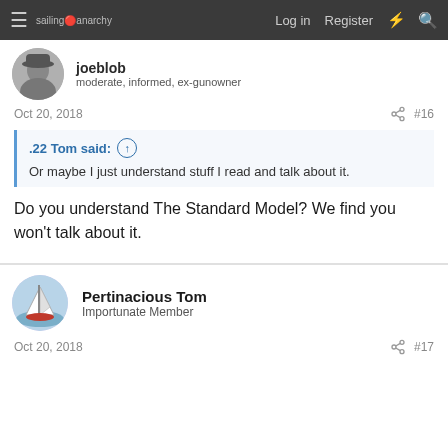sailing anarchy — Log in  Register
[Figure (photo): User avatar: person in cowboy hat, black and white photo]
joeblob
moderate, informed, ex-gunowner
Oct 20, 2018   #16
.22 Tom said: ↑

Or maybe I just understand stuff I read and talk about it.
Do you understand The Standard Model? We find you won't talk about it.
[Figure (photo): User avatar: sailing boat on water, color photo]
Pertinacious Tom
Importunate Member
Oct 20, 2018   #17